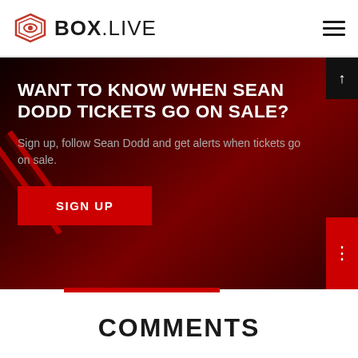[Figure (logo): BOX.LIVE logo with red hexagonal diamond shape icon on left, bold text BOX.LIVE and hamburger menu icon on right]
[Figure (infographic): Hero banner with dark red gradient background, bold white uppercase text asking about Sean Dodd tickets, grey subtitle, and red SIGN UP button]
WANT TO KNOW WHEN SEAN DODD TICKETS GO ON SALE?
Sign up, follow Sean Dodd and get alerts when tickets go on sale.
COMMENTS